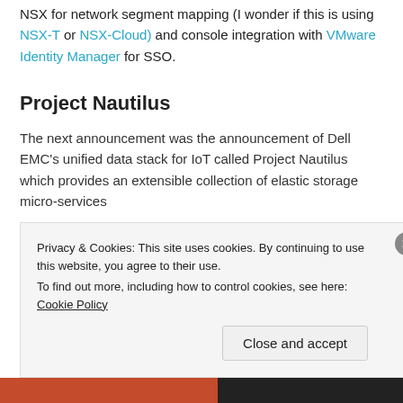NSX for network segment mapping (I wonder if this is using NSX-T or NSX-Cloud) and console integration with VMware Identity Manager for SSO.
Project Nautilus
The next announcement was the announcement of Dell EMC's unified data stack for IoT called Project Nautilus which provides an extensible collection of elastic storage micro-services
Privacy & Cookies: This site uses cookies. By continuing to use this website, you agree to their use.
To find out more, including how to control cookies, see here: Cookie Policy
Close and accept